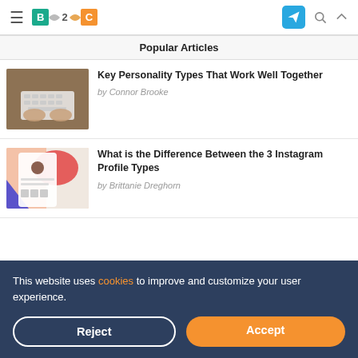B2C navigation bar with hamburger menu, logo, telegram icon, search and up icons
Popular Articles
[Figure (photo): Hands typing on a white Apple keyboard on a wooden desk]
Key Personality Types That Work Well Together
by Connor Brooke
[Figure (photo): Instagram profile page mockup with colorful abstract design elements]
What is the Difference Between the 3 Instagram Profile Types
by Brittanie Dreghorn
This website uses cookies to improve and customize your user experience.